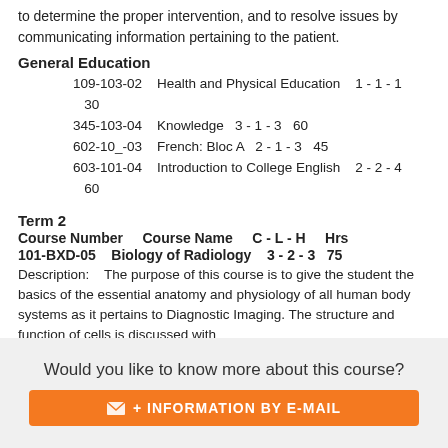to determine the proper intervention, and to resolve issues by communicating information pertaining to the patient.
General Education
109-103-02    Health and Physical Education    1 - 1 - 1    30
345-103-04    Knowledge    3 - 1 - 3    60
602-10_-03    French: Bloc A    2 - 1 - 3    45
603-101-04    Introduction to College English    2 - 2 - 4    60
Term 2
Course Number    Course Name    C - L - H    Hrs
101-BXD-05    Biology of Radiology    3 - 2 - 3    75
Description:    The purpose of this course is to give the student the basics of the essential anatomy and physiology of all human body systems as it pertains to Diagnostic Imaging. The structure and function of cells is discussed with
Would you like to know more about this course?
+ INFORMATION BY E-MAIL